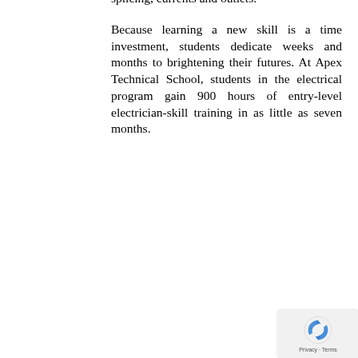splicing, currents and outlets.
Because learning a new skill is a time investment, students dedicate weeks and months to brightening their futures. At Apex Technical School, students in the electrical program gain 900 hours of entry-level electrician-skill training in as little as seven months.